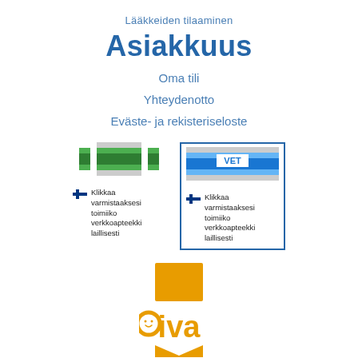Lääkkeiden tilaaminen
Asiakkuus
Oma tili
Yhteydenotto
Eväste- ja rekisteriseloste
[Figure (logo): Two pharmacy verification logos side by side. Left: green striped pharmacy logo with Finnish flag and text 'Klikkaa varmistaaksesi toimiiko verkkoapteekki laillisesti'. Right: blue VET logo inside blue border with Finnish flag and same verification text.]
[Figure (logo): Oiva logo — orange square bookmark shape above the word 'Oiva' with a smiley face incorporated into the letter O, orange color.]